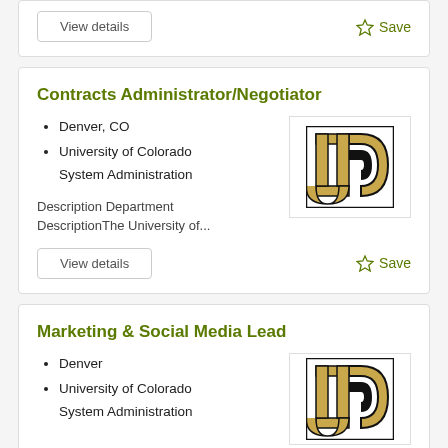View details (partial top card)
Contracts Administrator/Negotiator
Denver, CO
University of Colorado System Administration
[Figure (logo): University of Colorado CU logo in gold and black]
Description Department DescriptionThe University of...
View details
Save
Marketing & Social Media Lead
Denver
University of Colorado System Administration
[Figure (logo): University of Colorado CU logo in gold and black (partial)]